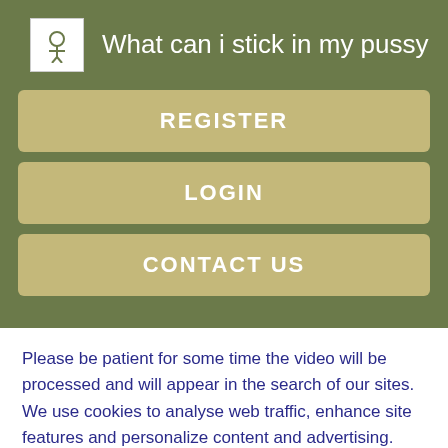What can i stick in my pussy
REGISTER
LOGIN
CONTACT US
Please be patient for some time the video will be processed and will appear in the search of our sites. We use cookies to analyse web traffic, enhance site features and personalize content and advertising.
Online: Now